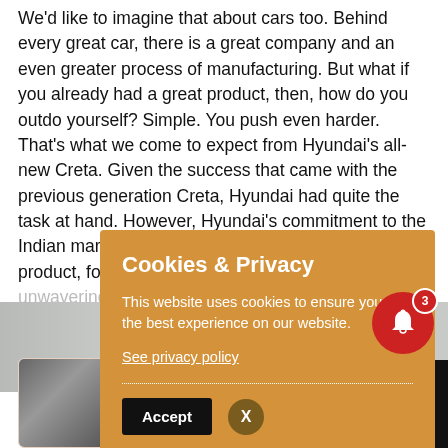We'd like to imagine that about cars too. Behind every great car, there is a great company and an even greater process of manufacturing. But what if you already had a great product, then, how do you outdo yourself? Simple. You push even harder. That's what we come to expect from Hyundai's all-new Creta. Given the success that came with the previous generation Creta, Hyundai had quite the task at hand. However, Hyundai's commitment to the Indian market and their constant search for a better product, for the people, has always been an unwavering one. So to tell you more about it, we decided to find out how one of the most loved cars in the country is bought to life.
[Figure (screenshot): Cookie & Privacy popup banner over webpage content. The banner has an orange/amber background with white text: 'Cookies & Privacy', 'This website uses cookies to ensure you get the best experience on our website.', a 'See privacy policy' link, a horizontal dotted divider, an 'Accept' button and an 'X' close button.]
[Figure (screenshot): A notification bell icon (red circle with bell) with a badge showing '3' in the bottom-right area.]
[Figure (screenshot): A recommendation card at the bottom with a car thumbnail image and the text 'Honda City e:HEV | Expensively Efficient |' in blue, on a light peach background.]